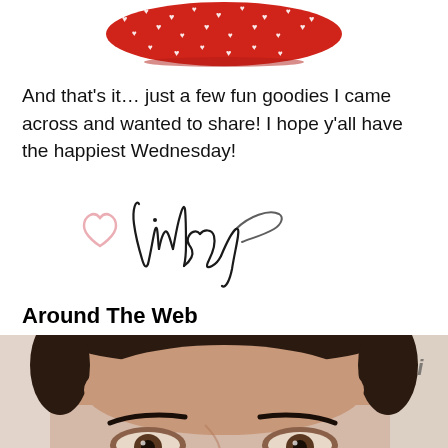[Figure (photo): Red bowl with white heart pattern, partially visible at top of page]
And that's it… just a few fun goodies I came across and wanted to share!  I hope y'all have the happiest Wednesday!
[Figure (illustration): Handwritten signature reading 'Lindsay' with a pink heart drawn to the left]
Around The Web
[Figure (photo): Close-up photo of a person's face (forehead and eyes visible), with dark curly hair, partial text visible in background]